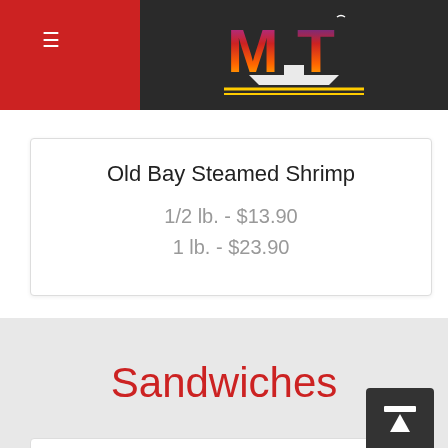MT Logo / Navigation header
Old Bay Steamed Shrimp
1/2 lb. - $13.90
1 lb. - $23.90
Sandwiches